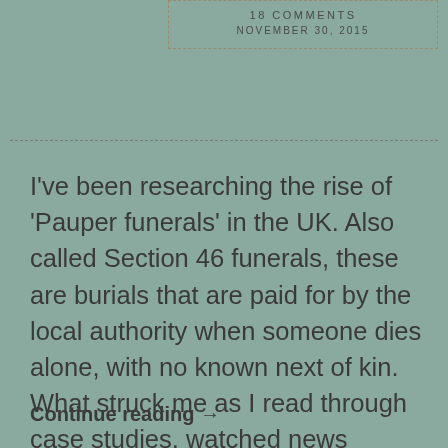18 COMMENTS
NOVEMBER 30, 2015
I've been researching the rise of 'Pauper funerals' in the UK. Also called Section 46 funerals, these are burials that are paid for by the local authority when someone dies alone, with no known next of kin. What struck me as I read through case studies, watched news articles and looked up Gazette postings, is that when …
Continue reading →